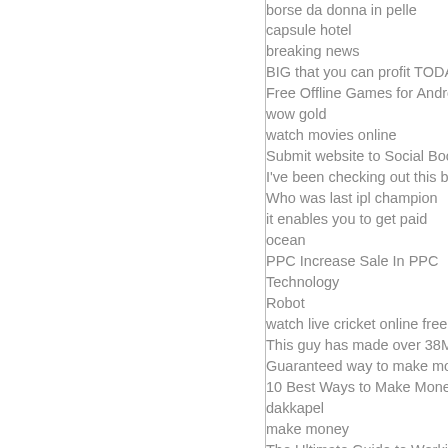borse da donna in pelle
capsule hotel
breaking news
BIG that you can profit TODAY
Free Offline Games for Android
wow gold
watch movies online
Submit website to Social Bookma…
I've been checking out this brand…
Who was last ipl champion
it enables you to get paid
ocean
PPC Increase Sale In PPC
Technology
Robot
watch live cricket online free
This guy has made over 38Million…
Guaranteed way to make money…
10 Best Ways to Make Money fro…
dakkapel
make money
The Ultimate Guide to Working F…
facebook group
How can I earn money from Goo…
ipl champion list
What is money
Internet Marketing
facebook group auto poster
crack
Auto SMS System The most pow…
manfred Mohr